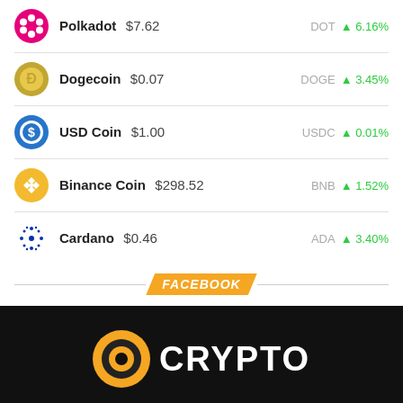Polkadot $7.62 — DOT ▲6.16%
Dogecoin $0.07 — DOGE ▲3.45%
USD Coin $1.00 — USDC ▲0.01%
Binance Coin $298.52 — BNB ▲1.52%
Cardano $0.46 — ADA ▲3.40%
FACEBOOK
[Figure (logo): Crypto.com logo: gold coin with black dot and white 'CRYPTO' text on black background]
Bitcoin (BTC) $21,488.76    Ethereum (ETH) $1,638.80